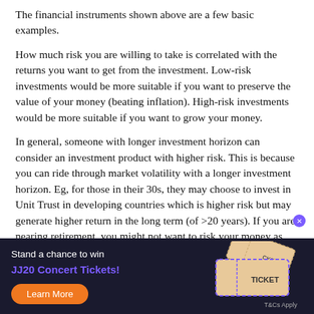The financial instruments shown above are a few basic examples.
How much risk you are willing to take is correlated with the returns you want to get from the investment. Low-risk investments would be more suitable if you want to preserve the value of your money (beating inflation). High-risk investments would be more suitable if you want to grow your money.
In general, someone with longer investment horizon can consider an investment product with higher risk. This is because you can ride through market volatility with a longer investment horizon. Eg, for those in their 30s, they may choose to invest in Unit Trust in developing countries which is higher risk but may generate higher return in the long term (of >20 years). If you are nearing retirement, you might not want to risk your money as much as you might not have enough time to recover your losses before you retire. As you reach retirement, you most likely would want to move your investments to more defensive instruments to avoid losing your principal.
[Figure (infographic): Dark banner advertisement: Stand a chance to win JJ20 Concert Tickets! with Learn More button and ticket illustrations. T&Cs Apply text at bottom right.]